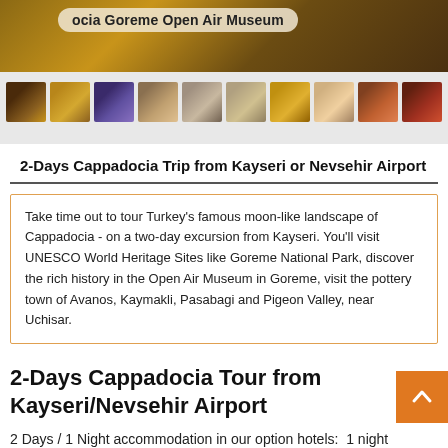[Figure (photo): Main photo of Cappadocia Goreme Open Air Museum with thumbnail strip below showing 10 small photos of cave church frescoes and landscapes]
2-Days Cappadocia Trip from Kayseri or Nevsehir Airport
Take time out to tour Turkey's famous moon-like landscape of Cappadocia - on a two-day excursion from Kayseri. You'll visit UNESCO World Heritage Sites like Goreme National Park, discover the rich history in the Open Air Museum in Goreme, visit the pottery town of Avanos, Kaymakli, Pasabagi and Pigeon Valley, near Uchisar.
2-Days Cappadocia Tour from Kayseri/Nevsehir Airport
2 Days / 1 Night accommodation in our option hotels:  1 night Cappadocia, all transfers, sightseeing tours including entrance